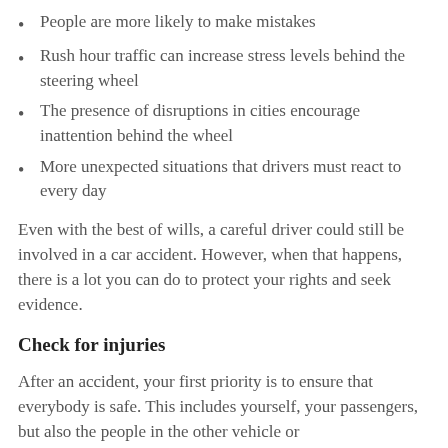People are more likely to make mistakes
Rush hour traffic can increase stress levels behind the steering wheel
The presence of disruptions in cities encourage inattention behind the wheel
More unexpected situations that drivers must react to every day
Even with the best of wills, a careful driver could still be involved in a car accident. However, when that happens, there is a lot you can do to protect your rights and seek evidence.
Check for injuries
After an accident, your first priority is to ensure that everybody is safe. This includes yourself, your passengers, but also the people in the other vehicle or...